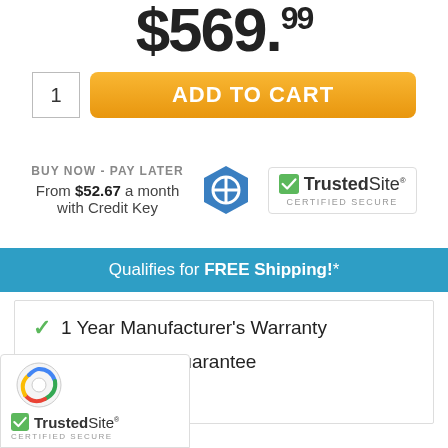$569.
1   ADD TO CART
BUY NOW - PAY LATER
From $52.67 a month with Credit Key
[Figure (logo): TrustedSite Certified Secure badge]
Qualifies for FREE Shipping!*
1 Year Manufacturer's Warranty
Price Match Guarantee
Free Shipping
[Figure (logo): TrustedSite Certified Secure badge with reCAPTCHA logo at bottom of page]